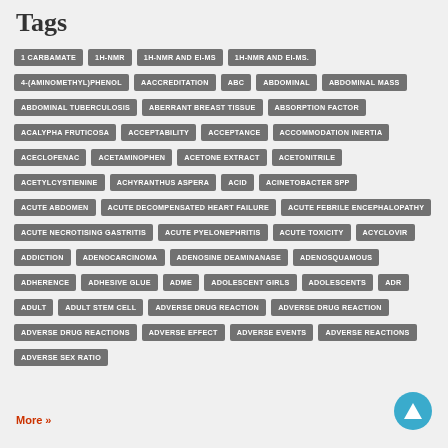Tags
1 CARBAMATE
1H-NMR
1H-NMR AND EI-MS
1H-NMR AND EI-MS.
4-(AMINOMETHYL)PHENOL
AACCREDITATION
ABC
ABDOMINAL
ABDOMINAL MASS
ABDOMINAL TUBERCULOSIS
ABERRANT BREAST TISSUE
ABSORPTION FACTOR
ACALYPHA FRUTICOSA
ACCEPTABILITY
ACCEPTANCE
ACCOMMODATION INERTIA
ACECLOFENAC
ACETAMINOPHEN
ACETONE EXTRACT
ACETONITRILE
ACETYLCYSTIENINE
ACHYRANTHUS ASPERA
ACID
ACINETOBACTER SPP
ACUTE ABDOMEN
ACUTE DECOMPENSATED HEART FAILURE
ACUTE FEBRILE ENCEPHALOPATHY
ACUTE NECROTISING GASTRITIS
ACUTE PYELONEPHRITIS
ACUTE TOXICITY
ACYCLOVIR
ADDICTION
ADENOCARCINOMA
ADENOSINE DEAMINANASE
ADENOSQUAMOUS
ADHERENCE
ADHESIVE GLUE
ADME
ADOLESCENT GIRLS
ADOLESCENTS
ADR
ADULT
ADULT STEM CELL
ADVERSE DRUG REACTION
ADVERSE DRUG REACTION
ADVERSE DRUG REACTIONS
ADVERSE EFFECT
ADVERSE EVENTS
ADVERSE REACTIONS
ADVERSE SEX RATIO
More »